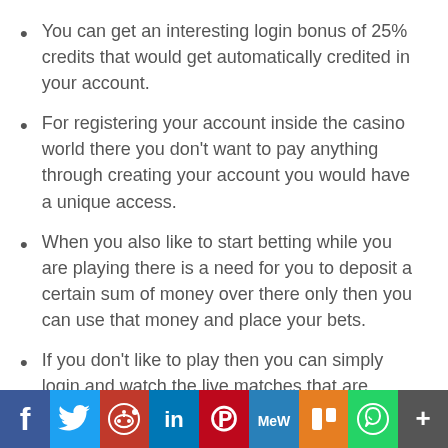You can get an interesting login bonus of 25% credits that would get automatically credited in your account.
For registering your account inside the casino world there you don't want to pay anything through creating your account you would have a unique access.
When you also like to start betting while you are playing there is a need for you to deposit a certain sum of money over there only then you can use that money and place your bets.
If you don't like to play then you can simply login and watch the live matches that are taking place over there.
[Figure (infographic): Social media sharing bar with icons for Facebook, Twitter, Reddit, LinkedIn, Pinterest, MeWe, Mix, WhatsApp, and More (plus sign).]